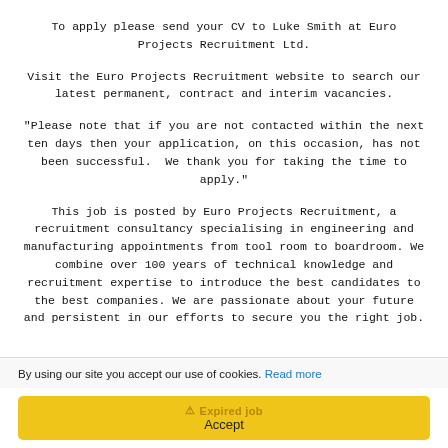To apply please send your CV to Luke Smith at Euro Projects Recruitment Ltd.
Visit the Euro Projects Recruitment website to search our latest permanent, contract and interim vacancies.
"Please note that if you are not contacted within the next ten days then your application, on this occasion, has not been successful.  We thank you for taking the time to apply."
This job is posted by Euro Projects Recruitment, a recruitment consultancy specialising in engineering and manufacturing appointments from tool room to boardroom. We combine over 100 years of technical knowledge and recruitment expertise to introduce the best candidates to the best companies. We are passionate about your future and persistent in our efforts to secure you the right job.
By using our site you accept our use of cookies. Read more
Expired job
Accept